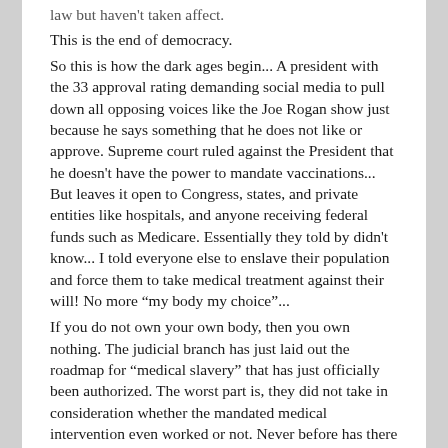law but haven't taken affect.
This is the end of democracy.
So this is how the dark ages begin... A president with the 33 approval rating demanding social media to pull down all opposing voices like the Joe Rogan show just because he says something that he does not like or approve. Supreme court ruled against the President that he doesn't have the power to mandate vaccinations... But leaves it open to Congress, states, and private entities like hospitals, and anyone receiving federal funds such as Medicare. Essentially they told by didn't know... I told everyone else to enslave their population and force them to take medical treatment against their will! No more “my body my choice”...
If you do not own your own body, then you own nothing. The judicial branch has just laid out the roadmap for “medical slavery” that has just officially been authorized. The worst part is, they did not take in consideration whether the mandated medical intervention even worked or not. Never before has there been a one size fits all